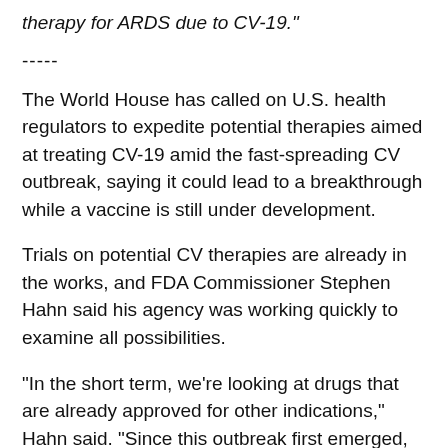therapy for ARDS due to CV-19."
-----
The World House has called on U.S. health regulators to expedite potential therapies aimed at treating CV-19 amid the fast-spreading CV outbreak, saying it could lead to a breakthrough while a vaccine is still under development.
Trials on potential CV therapies are already in the works, and FDA Commissioner Stephen Hahn said his agency was working quickly to examine all possibilities.
"In the short term, we're looking at drugs that are already approved for other indications," Hahn said. "Since this outbreak first emerged, we've been working closely with our partners across the U.S government and around the globe to expedite the